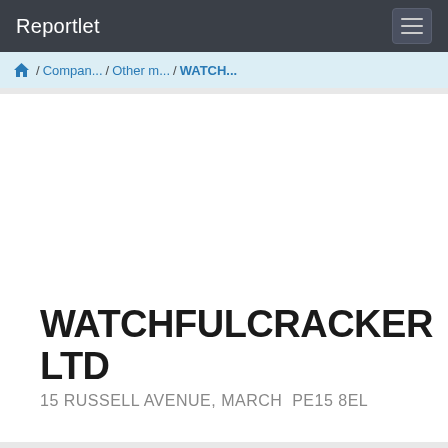Reportlet
🏠 / Compan... / Other m... / WATCH...
WATCHFULCRACKER LTD
15 RUSSELL AVENUE, MARCH  PE15 8EL